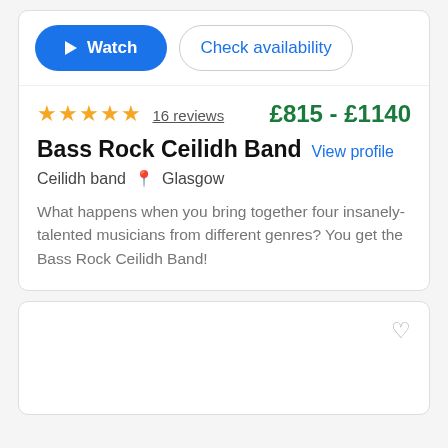[Figure (screenshot): Watch button (blue pill) and Check availability button (outlined pill)]
★★★★★ 16 reviews   £815 - £1140
Bass Rock Ceilidh Band   View profile
Ceilidh band   📍 Glasgow
What happens when you bring together four insanely-talented musicians from different genres? You get the Bass Rock Ceilidh Band!